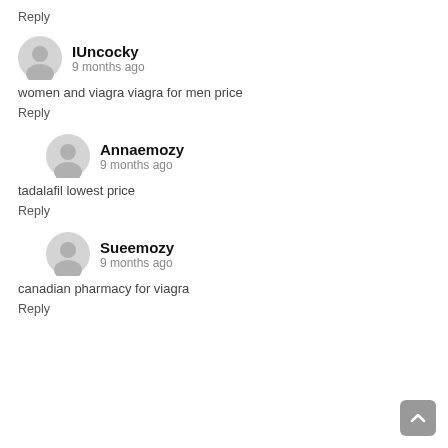Reply
IUncocky
9 months ago
women and viagra viagra for men price
Reply
Annaemozy
9 months ago
tadalafil lowest price
Reply
Sueemozy
9 months ago
canadian pharmacy for viagra
Reply